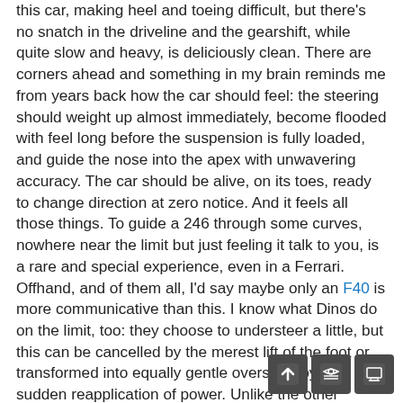this car, making heel and toeing difficult, but there's no snatch in the driveline and the gearshift, while quite slow and heavy, is deliciously clean. There are corners ahead and something in my brain reminds me from years back how the car should feel: the steering should weight up almost immediately, become flooded with feel long before the suspension is fully loaded, and guide the nose into the apex with unwavering accuracy. The car should be alive, on its toes, ready to change direction at zero notice. And it feels all those things. To guide a 246 through some curves, nowhere near the limit but just feeling it talk to you, is a rare and special experience, even in a Ferrari. Offhand, and of them all, I'd say maybe only an F40 is more communicative than this. I know what Dinos do on the limit, too: they choose to understeer a little, but this can be cancelled by the merest lift of the foot or transformed into equally gentle oversteer by the sudden reapplication of power. Unlike the other Ferraris of the era with which it had to share stable space, the Dino is probably even stronger in the corners